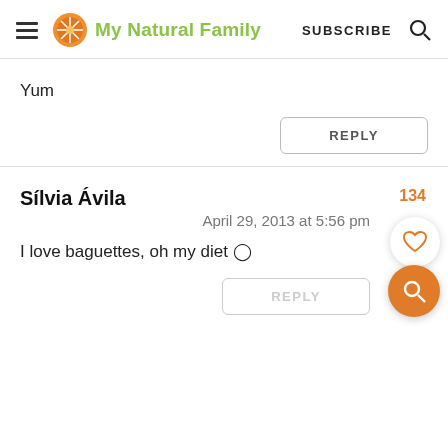My Natural Family — SUBSCRIBE
Yum
REPLY
Sílvia Ávila
April 29, 2013 at 5:56 pm
I love baguettes, oh my diet 🍞
REPLY